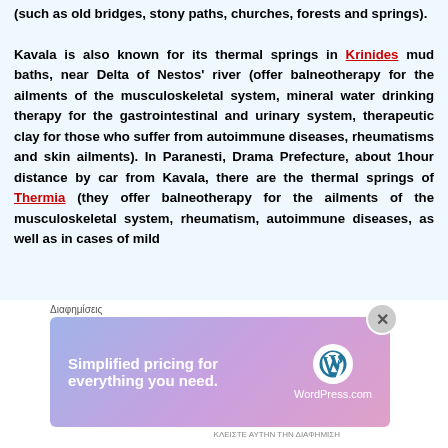(such as old bridges, stony paths, churches, forests and springs). Kavala is also known for its thermal springs in Krinides mud baths, near Delta of Nestos' river (offer balneotherapy for the ailments of the musculoskeletal system, mineral water drinking therapy for the gastrointestinal and urinary system, therapeutic clay for those who suffer from autoimmune diseases, rheumatisms and skin ailments). In Paranesti, Drama Prefecture, about 1hour distance by car from Kavala, there are the thermal springs of Thermia (they offer balneotherapy for the ailments of the musculoskeletal system, rheumatism, autoimmune diseases, as well as in cases of mild
[Figure (other): WordPress.com advertisement banner with text 'Simplified pricing for everything you need.' and WordPress logo]